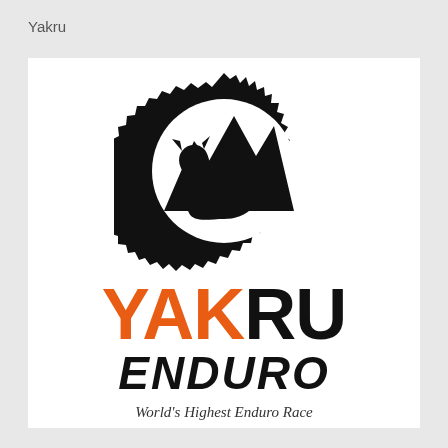Yakru
[Figure (logo): Yakru Enduro logo: a bicycle chainring/sprocket in black with teeth around the circumference, containing a white circle with black mountain silhouette peaks and a yak silhouette in the foreground. Below the sprocket graphic is the text YAKRU in large bold font (YAK in orange, RU in black), then ENDURO in large bold black italic, and beneath that the tagline 'World's Highest Enduro Race' in italic serif font.]